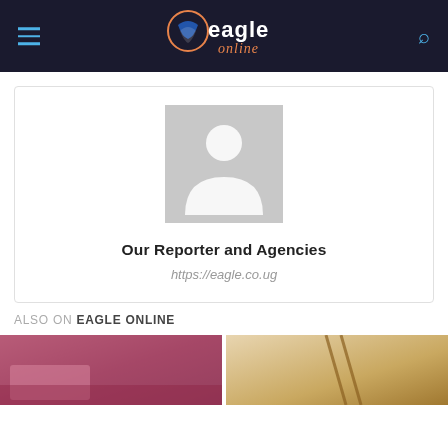Eagle Online
[Figure (photo): Default avatar placeholder — gray silhouette of a person on light gray background]
Our Reporter and Agencies
https://eagle.co.ug
ALSO ON EAGLE ONLINE
[Figure (photo): Thumbnail image with pink/purple tones, partial view of a room]
[Figure (photo): Thumbnail image with warm beige/brown tones, partial view]